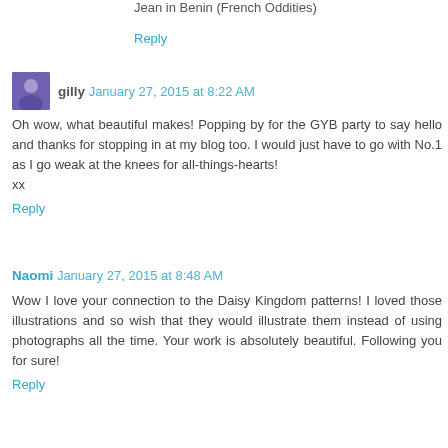Jean in Benin (French Oddities)
Reply
gilly  January 27, 2015 at 8:22 AM
Oh wow, what beautiful makes! Popping by for the GYB party to say hello and thanks for stopping in at my blog too. I would just have to go with No.1 as I go weak at the knees for all-things-hearts!
xx
Reply
Naomi  January 27, 2015 at 8:48 AM
Wow I love your connection to the Daisy Kingdom patterns! I loved those illustrations and so wish that they would illustrate them instead of using photographs all the time. Your work is absolutely beautiful. Following you for sure!
Reply